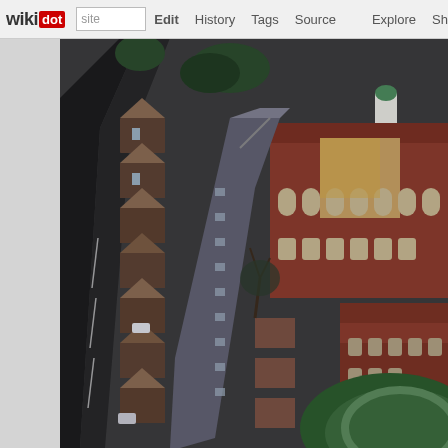wikidot | Edit | History | Tags | Source | Explore | Share on Twitter
[Figure (photo): Aerial/bird's-eye view photograph of an urban neighborhood showing brick buildings, streets, parked cars, and a prominent red brick institutional building with a green dome and arched windows, surrounded by trees and a green lawn area.]